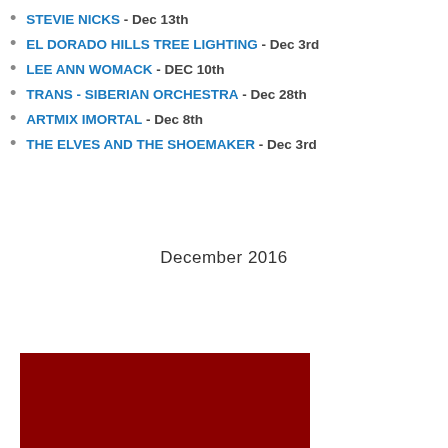STEVIE NICKS - Dec 13th
EL DORADO HILLS TREE LIGHTING - Dec 3rd
LEE ANN WOMACK - DEC 10th
TRANS - SIBERIAN ORCHESTRA - Dec 28th
ARTMIX IMORTAL - Dec 8th
THE ELVES AND THE SHOEMAKER - Dec 3rd
December 2016
[Figure (screenshot): Experience Sacramento! Your Premier Event Newsletter banner in red with white italic script text, followed by a deep red rectangular block, and a photo of a twilight sky with tree silhouettes]
Experience Sacramento! Your Premier Event Newsletter